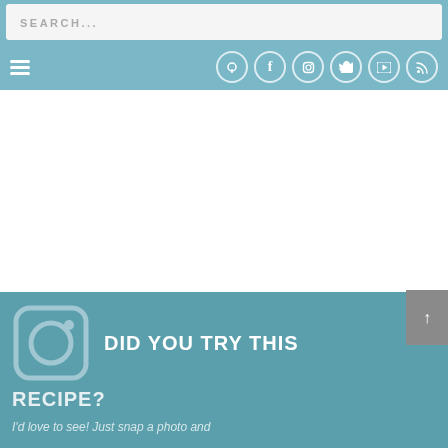SEARCH...
[Figure (screenshot): Navigation bar with hamburger menu and social media icons (Pinterest, Facebook, Instagram, Twitter, YouTube, RSS) on a teal background]
[Figure (infographic): Teal banner with Instagram camera icon and text: DID YOU TRY THIS RECIPE? I'd love to see! Just snap a photo and...]
DID YOU TRY THIS RECIPE? I'd love to see! Just snap a photo and